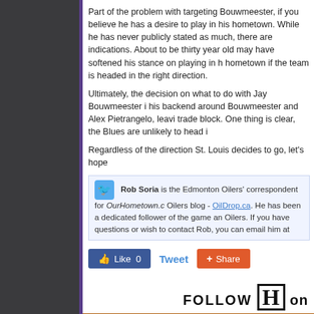Part of the problem with targeting Bouwmeester, if you believe he has a desire to play in his hometown. While he has never publicly stated as much, there are indications. About to be thirty year old may have softened his stance on playing in his hometown if the team is headed in the right direction.
Ultimately, the decision on what to do with Jay Bouwmeester is up to Hitchcock and Armstrong. his backend around Bouwmeester and Alex Pietrangelo, leaving Jackman and Shattenkirk on the trade block. One thing is clear, the Blues are unlikely to head into next season with the team...
Regardless of the direction St. Louis decides to go, let's hope...
Rob Soria is the Edmonton Oilers' correspondent for OurHometown.c... Oilers blog - OilDrop.ca. He has been a dedicated follower of the game and... Oilers. If you have questions or wish to contact Rob, you can email him at...
[Figure (infographic): Social media buttons: Like 0 (Facebook blue), Tweet (blue text), Share (orange/red button with plus icon)]
[Figure (infographic): FOLLOW H on... text with large serif H in a box]
[Figure (infographic): Have an OPINION banner in orange gradient]
[Figure (photo): Blonde woman with shopping bags against decorative circles background]